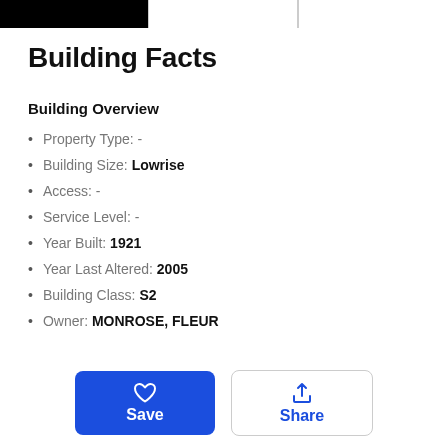Building Facts
Building Overview
Property Type: -
Building Size: Lowrise
Access: -
Service Level: -
Year Built: 1921
Year Last Altered: 2005
Building Class: S2
Owner: MONROSE, FLEUR
Size & Dimensions
Units: 7